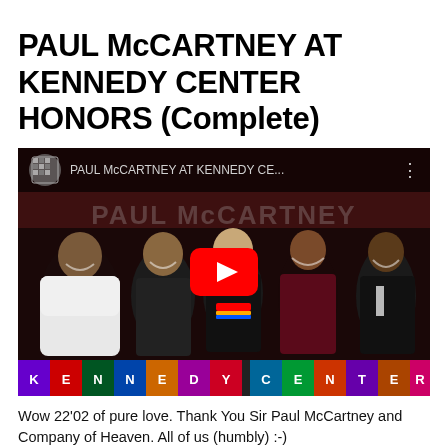PAUL McCARTNEY AT KENNEDY CENTER HONORS (Complete)
[Figure (screenshot): YouTube video thumbnail showing Paul McCartney at Kennedy Center Honors. The thumbnail shows a group of smiling people including Oprah Winfrey, Paul McCartney wearing a Kennedy Center Honors medallion, Michelle Obama, and Barack Obama in formal attire at the ceremony. A large red YouTube play button is centered on the image. The top bar shows the YouTube interface with the video title 'PAUL McCARTNEY AT KENNEDY CE...' A colorful 'KENNEDY CENTER HONORS' letter bar appears at the bottom of the thumbnail.]
Wow 22'02 of pure love. Thank You Sir Paul McCartney and Company of Heaven. All of us (humbly) :-)